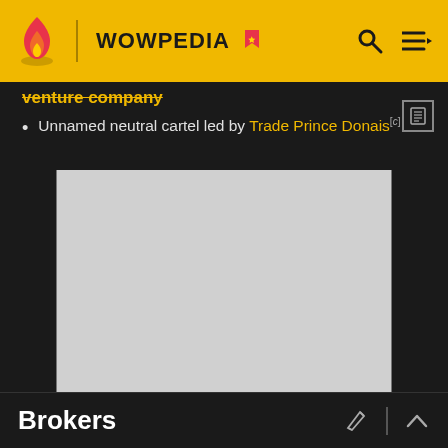WOWPEDIA
venture company
Unnamed neutral cartel led by Trade Prince Donais
[Figure (other): Advertisement placeholder (grey rectangle)]
ADVERTISEMENT
Brokers